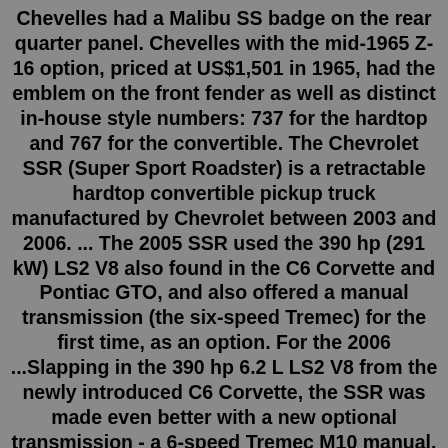Chevelles had a Malibu SS badge on the rear quarter panel. Chevelles with the mid-1965 Z-16 option, priced at US$1,501 in 1965, had the emblem on the front fender as well as distinct in-house style numbers: 737 for the hardtop and 767 for the convertible. The Chevrolet SSR (Super Sport Roadster) is a retractable hardtop convertible pickup truck manufactured by Chevrolet between 2003 and 2006. ... The 2005 SSR used the 390 hp (291 kW) LS2 V8 also found in the C6 Corvette and Pontiac GTO, and also offered a manual transmission (the six-speed Tremec) for the first time, as an option. For the 2006 ...Slapping in the 390 hp 6.2 L LS2 V8 from the newly introduced C6 Corvette, the SSR was made even better with a new optional transmission - a 6-speed Tremec M10 manual. Initially doing a 0-60 mph sprint in 7 seconds, this new proper performance SSR could now do it in 5.5 seconds, which was genuinely quick for 2005.Oct 01, 2005 · In case you've forgotten, the LS2 is the V-8 found underhood in the Corvette, Pontiac GTO, and Chevy SSR. In TrailBlazer SS